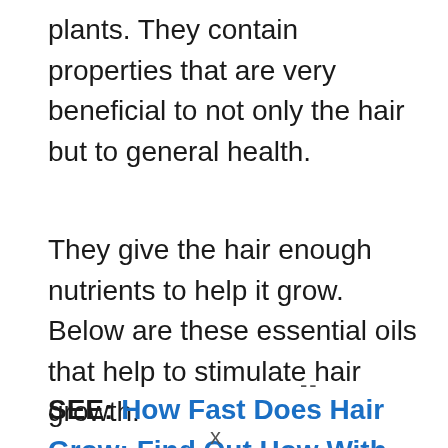plants. They contain properties that are very beneficial to not only the hair but to general health.
They give the hair enough nutrients to help it grow. Below are these essential oils that help to stimulate hair growth.
SEE: How Fast Does Hair Grow: Find Out How With These 13 Tips
--
x